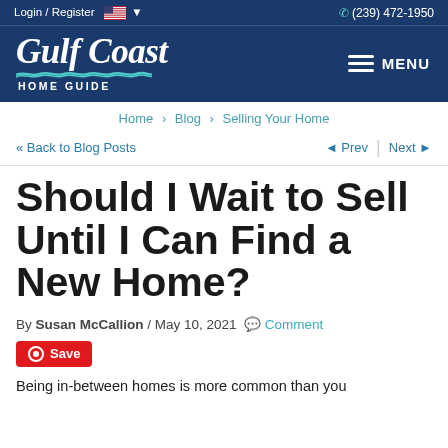Login / Register  (239) 472-1950
[Figure (logo): Gulf Coast Home Guide logo with script text and wave graphic on dark blue background]
Home > Blog > Selling Your Home
<< Back to Blog Posts   Prev  Next >>
Should I Wait to Sell Until I Can Find a New Home?
By Susan McCallion / May 10, 2021  Comment
Save
Being in-between homes is more common than you